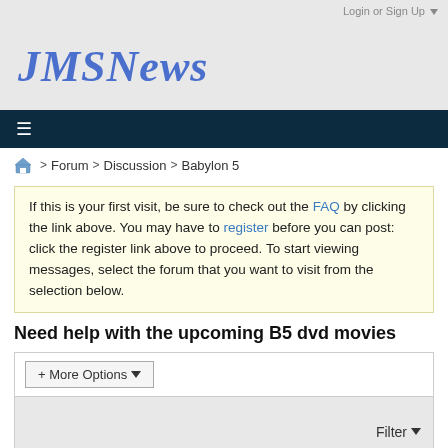Login or Sign Up ▾
JMSNews
≡
🏠 > Forum > Discussion > Babylon 5
If this is your first visit, be sure to check out the FAQ by clicking the link above. You may have to register before you can post: click the register link above to proceed. To start viewing messages, select the forum that you want to visit from the selection below.
Need help with the upcoming B5 dvd movies
+ More Options ▾
Filter ▾